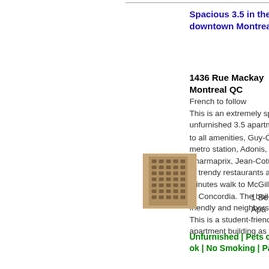Spacious 3.5 in the heart of downtown Montreal!
1436 Rue Mackay Montreal QC
French to follow This is an extremely spacious unfurnished 3.5 apartment, close to all amenities, Guy-Concordia metro station, Adonis, Pharmaprix, Jean-Cotu and tons of trendy restaurants and bars. 15 minutes walk to McGill, 2 minutes to Concordia. The building is pet-friendly and neighbors are quiet. This is a student-friendly apartment building as well. Th...
[Figure (photo): Exterior photo of a tall residential apartment building]
1 Be Apa
Unfurnished | Pets ok | Cats ok | No Smoking | Parking